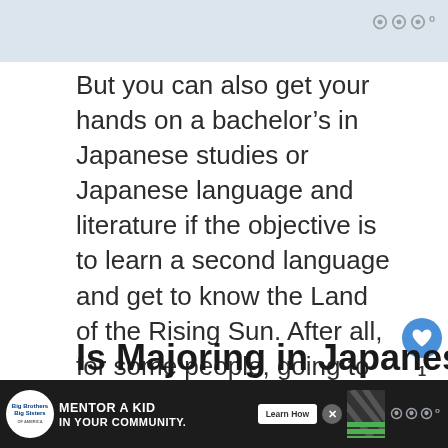But you can also get your hands on a bachelor’s in Japanese studies or Japanese language and literature if the objective is to learn a second language and get to know the Land of the Rising Sun. After all, for some people, going to college is not only about the money but also about pursuing one’s passion in life.
Is Majoring in Japanese